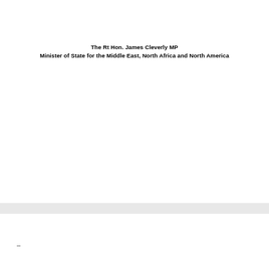The Rt Hon. James Cleverly MP
Minister of State for the Middle East, North Africa and North America
–